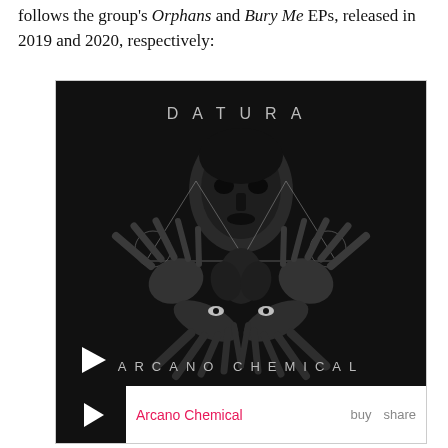follows the group's Orphans and Bury Me EPs, released in 2019 and 2020, respectively:
[Figure (other): Embedded music player showing the album 'Arcano Chemical' by Datura. The album art is a dark/black and white image featuring a face with spaced letters 'D A T U R A' at the top and 'A R C A N O  C H E M I C A L' at the bottom, with hands and surreal imagery. A play button is shown in the bottom-left of the image. Below shows the track name 'Arcano Chemical' in pink/red with 'buy' and 'share' links.]